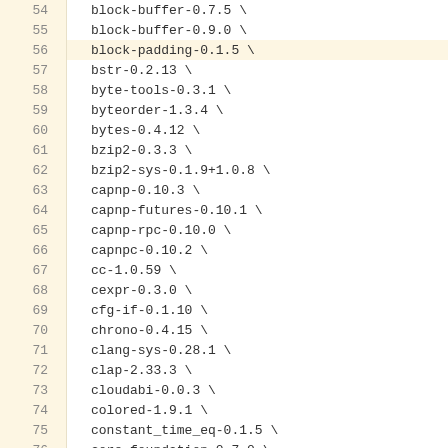| line | code |
| --- | --- |
| 54 | block-buffer-0.7.5 \ |
| 55 | block-buffer-0.9.0 \ |
| 56 | block-padding-0.1.5 \ |
| 57 | bstr-0.2.13 \ |
| 58 | byte-tools-0.3.1 \ |
| 59 | byteorder-1.3.4 \ |
| 60 | bytes-0.4.12 \ |
| 61 | bzip2-0.3.3 \ |
| 62 | bzip2-sys-0.1.9+1.0.8 \ |
| 63 | capnp-0.10.3 \ |
| 64 | capnp-futures-0.10.1 \ |
| 65 | capnp-rpc-0.10.0 \ |
| 66 | capnpc-0.10.2 \ |
| 67 | cc-1.0.59 \ |
| 68 | cexpr-0.3.0 \ |
| 69 | cfg-if-0.1.10 \ |
| 70 | chrono-0.4.15 \ |
| 71 | clang-sys-0.28.1 \ |
| 72 | clap-2.33.3 \ |
| 73 | cloudabi-0.0.3 \ |
| 74 | colored-1.9.1 \ |
| 75 | constant_time_eq-0.1.5 \ |
| 76 | core-foundation-0.7.0 \ |
| 77 | core-foundation-sys-0.7.0 \ |
| 78 | cpuid-bool-0.1.2 \ |
| 79 | crc32fast-1.0.0 \ |